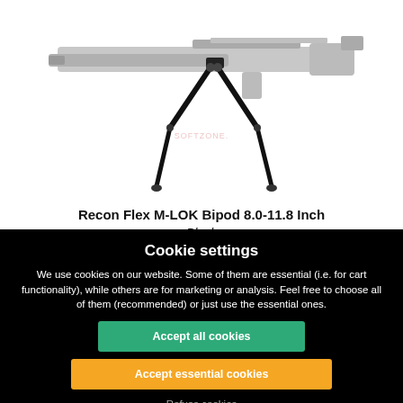[Figure (photo): Product photo of a black bipod (Recon Flex M-LOK Bipod) attached to a grey/silver rifle, shown from a side angle on a white background. The bipod legs are extended and the rifle barrel is visible.]
Recon Flex M-LOK Bipod 8.0-11.8 Inch
Black
Leapers
Cookie settings
We use cookies on our website. Some of them are essential (i.e. for cart functionality), while others are for marketing or analysis. Feel free to choose all of them (recommended) or just use the essential ones.
Accept all cookies
Accept essential cookies
Refuse cookies